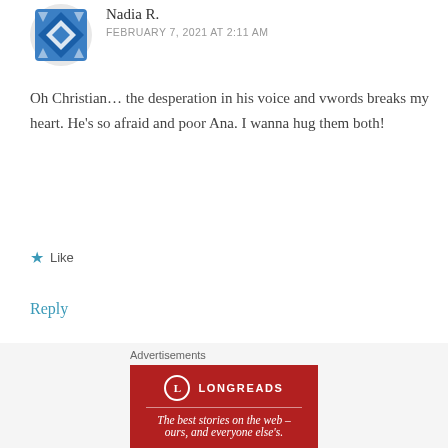[Figure (illustration): Blue geometric avatar icon with diamond/cross pattern]
Nadia R.
FEBRUARY 7, 2021 AT 2:11 AM
Oh Christian… the desperation in his voice and vwords breaks my heart. He's so afraid and poor Ana. I wanna hug them both!
★ Like
Reply
Leave a Reply
Your email address will not be published. Required fields are marked *
[Figure (infographic): Longreads advertisement banner: red background with logo and tagline 'The best stories on the web – ours, and everyone else's.']